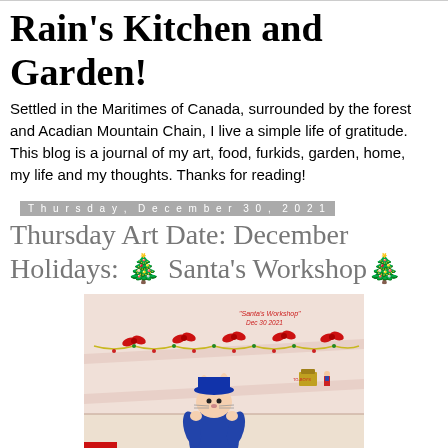Rain's Kitchen and Garden!
Settled in the Maritimes of Canada, surrounded by the forest and Acadian Mountain Chain, I live a simple life of gratitude. This blog is a journal of my art, food, furkids, garden, home, my life and my thoughts. Thanks for reading!
Thursday, December 30, 2021
Thursday Art Date: December Holidays: 🎄 Santa's Workshop🎄
[Figure (illustration): Cartoon drawing of Santa's Workshop interior with Christmas decorations, bows, garlands, and an animated character in blue attire. Text reads 'Santa's Workshop Dec 30 2021'.]